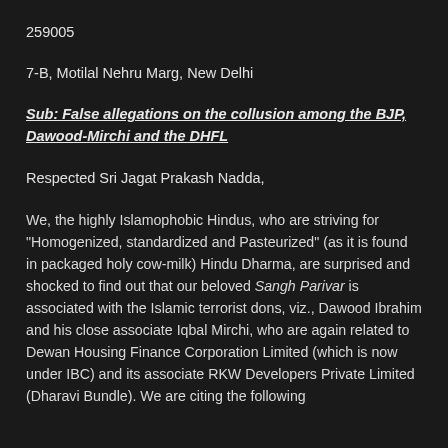259005
7-B, Motilal Nehru Marg, New Delhi
Sub: False allegations on the collusion among the BJP, Dawood-Mirchi and the DHFL
Respected Sri Jagat Prakash Nadda,
We, the highly Islamophobic Hindus, who are striving for "Homogenized, standardized and Pasteurized" (as it is found in packaged holy cow-milk) Hindu Dharma, are surprised and shocked to find out that our beloved Sangh Parivar is associated with the Islamic terrorist dons, viz., Dawood Ibrahim and his close associate Iqbal Mirchi, who are again related to Dewan Housing Finance Corporation Limited (which is now under IBC) and its associate RKW Developers Private Limited (Dharavi Bundle). We are citing the following sources and